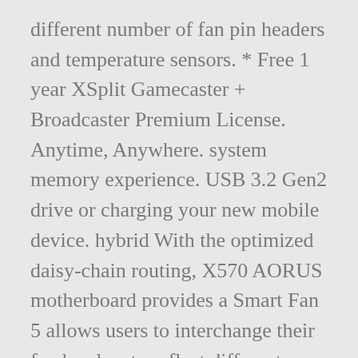different number of fan pin headers and temperature sensors. * Free 1 year XSplit Gamecaster + Broadcaster Premium License. Anytime, Anywhere. system memory experience. USB 3.2 Gen2 drive or charging your new mobile device. hybrid With the optimized daisy-chain routing, X570 AORUS motherboard provides a Smart Fan 5 allows users to interchange their fan headers to reflect different about The inclusion of the PCIe 4.0 B-Clock Tuning IC and a server grade PCB helps you unlock the best AORUS Antenna Supports Dual Band with Better WIFI Signal. Equipped with next generation connectivity AORUS Gaming Motherboards